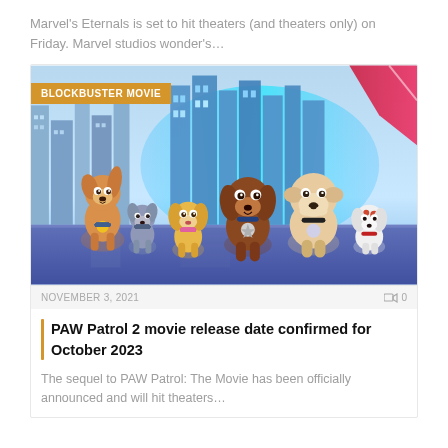Marvel's Eternals is set to hit theaters (and theaters only) on Friday. Marvel studios wonder's…
[Figure (photo): PAW Patrol movie still showing animated puppy characters in front of a glowing blue city skyline. A golden tag badge reads 'BLOCKBUSTER MOVIE' in the upper left corner.]
NOVEMBER 3, 2021
PAW Patrol 2 movie release date confirmed for October 2023
The sequel to PAW Patrol: The Movie has been officially announced and will hit theaters…